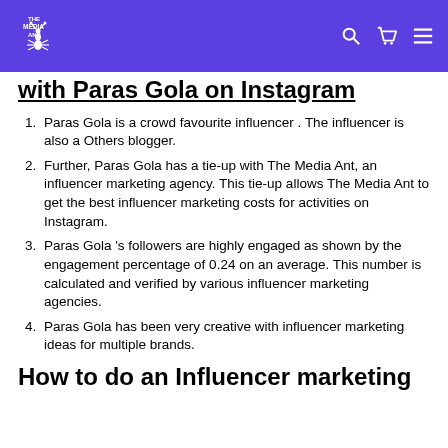The Media Ant
with Paras Gola on Instagram
Paras Gola is a crowd favourite influencer . The influencer is also a Others blogger.
Further, Paras Gola has a tie-up with The Media Ant, an influencer marketing agency. This tie-up allows The Media Ant to get the best influencer marketing costs for activities on Instagram.
Paras Gola 's followers are highly engaged as shown by the engagement percentage of 0.24 on an average. This number is calculated and verified by various influencer marketing agencies.
Paras Gola has been very creative with influencer marketing ideas for multiple brands.
How to do an Influencer marketing